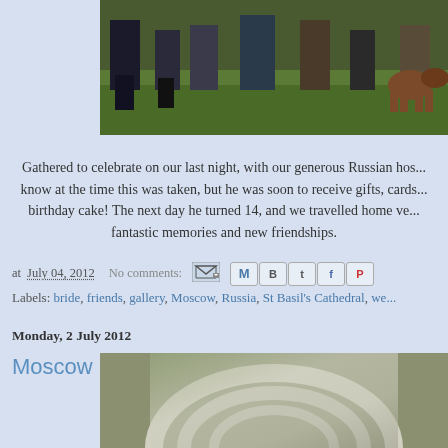[Figure (photo): Photo cropped at top showing people's legs and boots on grass, partially cut off]
Gathered to celebrate on our last night, with our generous Russian hos... know at the time this was taken, but he was soon to receive gifts, cards... birthday cake! The next day he turned 14, and we travelled home ve... fantastic memories and new friendships.
at July 04, 2012   No comments:
Labels: bride, friends, gallery, Moscow, Russia, St Basil's Cathedral, we...
Monday, 2 July 2012
Moscow Metro, Thursday 10th May
[Figure (photo): Photo at bottom showing curved metallic or stone surfaces, partially cut off]